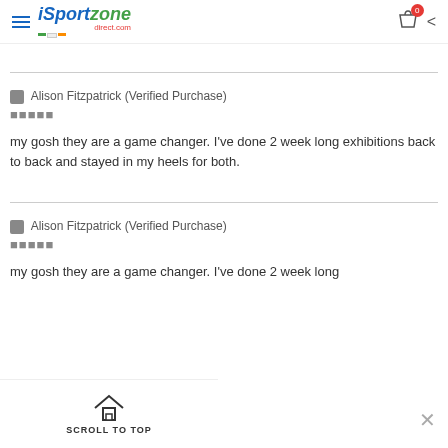iSportzone direct.com — navigation header with cart icon
🟦 Alison Fitzpatrick (Verified Purchase)
⭐⭐⭐⭐⭐

my gosh they are a game changer. I've done 2 week long exhibitions back to back and stayed in my heels for both.
🟦 Alison Fitzpatrick (Verified Purchase)
⭐⭐⭐⭐⭐

my gosh they are a game changer. I've done 2 week long
SCROLL TO TOP